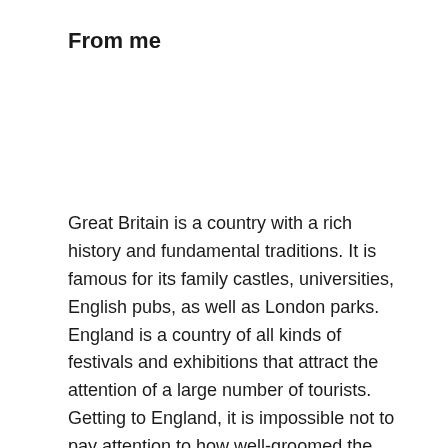From me
Great Britain is a country with a rich history and fundamental traditions. It is famous for its family castles, universities, English pubs, as well as London parks. England is a country of all kinds of festivals and exhibitions that attract the attention of a large number of tourists. Getting to England, it is impossible not to pay attention to how well-groomed the parks, gardens and lawns of cities are.